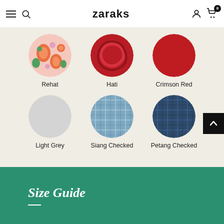zaraks
[Figure (illustration): Six circular fabric/color swatches arranged in two rows of three. Row 1: Rehat (colorful floral print), Hati (dark red pattern), Crimson Red (solid crimson). Row 2: Light Grey (solid light grey), Siang Checked (light blue plaid), Petang Checked (dark navy plaid).]
Rehat
Hati
Crimson Red
Light Grey
Siang Checked
Petang Checked
Size Guide